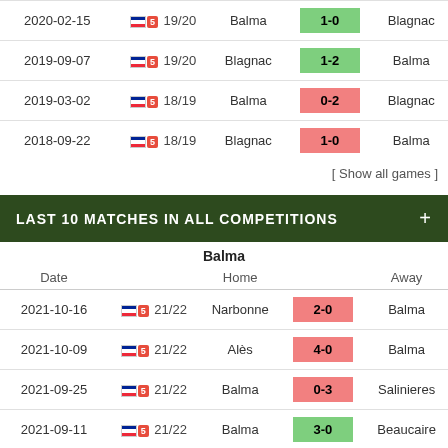| Date |  | Home |  | Away |
| --- | --- | --- | --- | --- |
| 2020-02-15 | 🇫🇷 19/20 | Balma | 1-0 | Blagnac |
| 2019-09-07 | 🇫🇷 19/20 | Blagnac | 1-2 | Balma |
| 2019-03-02 | 🇫🇷 18/19 | Balma | 0-2 | Blagnac |
| 2018-09-22 | 🇫🇷 18/19 | Blagnac | 1-0 | Balma |
[ Show all games ]
LAST 10 MATCHES IN ALL COMPETITIONS
Balma
| Date |  | Home |  | Away |
| --- | --- | --- | --- | --- |
| 2021-10-16 | 🇫🇷 21/22 | Narbonne | 2-0 | Balma |
| 2021-10-09 | 🇫🇷 21/22 | Alès | 4-0 | Balma |
| 2021-09-25 | 🇫🇷 21/22 | Balma | 0-3 | Salinieres |
| 2021-09-11 | 🇫🇷 21/22 | Balma | 3-0 | Beaucaire |
| 2021-09-?? | 🇫🇷 21/22 | Balma | 0-0 | ... |